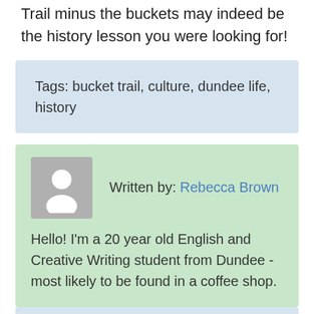vibrant culture, but who knows, the Bucket Trail minus the buckets may indeed be the history lesson you were looking for!
Tags: bucket trail, culture, dundee life, history
Written by: Rebecca Brown
Hello! I'm a 20 year old English and Creative Writing student from Dundee - most likely to be found in a coffee shop.